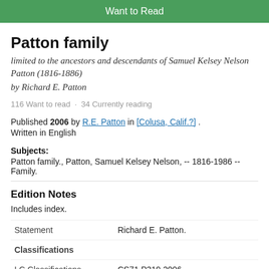Want to Read
Patton family
limited to the ancestors and descendants of Samuel Kelsey Nelson Patton (1816-1886)
by Richard E. Patton
116 Want to read · 34 Currently reading
Published 2006 by R.E. Patton in [Colusa, Calif.?] .
Written in English
Subjects:
Patton family., Patton, Samuel Kelsey Nelson, -- 1816-1986 -- Family.
Edition Notes
Includes index.
|  |  |
| --- | --- |
| Statement | Richard E. Patton. |
| Classifications |  |
| LC Classifications | CS71.P319 2006 |
LC Classifications    CS71.P319 2006